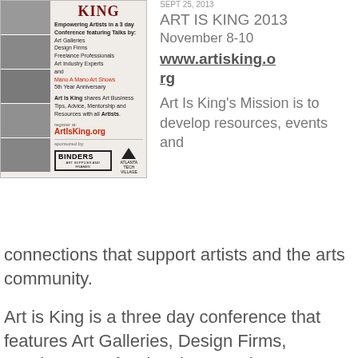[Figure (illustration): Art Is King 2013 conference advertisement flyer showing collage of event photos on the left, conference details text in the center including talk topics, Mano A Mano Art Shows 5th Year Anniversary, register at ArtIsKing.org, and sponsor logos for Binders Art Supplies and Atlanta Tech Village.]
ART IS KING 2013
November 8-10
www.artisking.org
Art Is King's Mission is to develop resources, events and connections that support artists and the arts community.
Art is King is a three day conference that features Art Galleries, Design Firms, Freelance Professionals, Art Industry Experts and share art business tips, advice